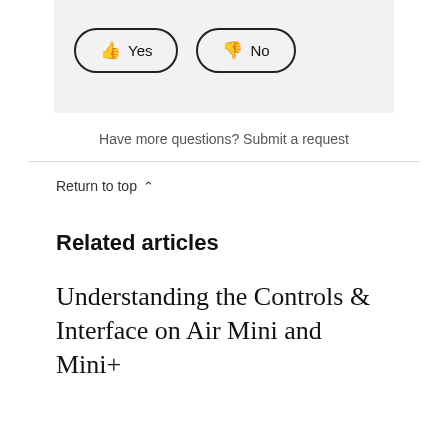[Figure (other): Feedback widget with two pill-shaped buttons: a thumbs-up 'Yes' button and a thumbs-down 'No' button on a light gray background]
Have more questions? Submit a request
Return to top ^
Related articles
Understanding the Controls & Interface on Air Mini and Mini+